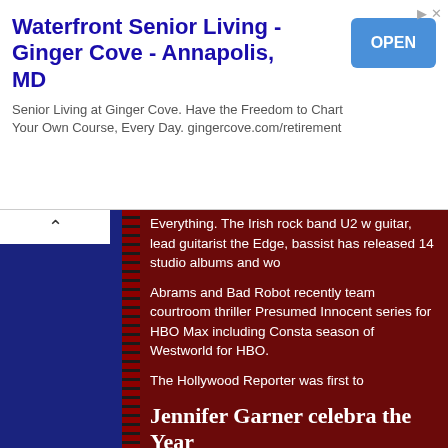[Figure (other): Advertisement banner for Waterfront Senior Living - Ginger Cove, Annapolis MD with OPEN button]
Everything. The Irish rock band U2 w guitar, lead guitarist the Edge, bassist has released 14 studio albums and wo
Abrams and Bad Robot recently team courtroom thriller Presumed Innocent series for HBO Max including Consta season of Westworld for HBO.
The Hollywood Reporter was first to
Jennifer Garner celebra the Year
(2/6/22) “Alias” actor Jennifer Garne the Year at a parade in historic Harvar
Garner was paraded through the stree Garner, 49, was all smiles as she wave